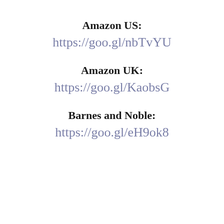Amazon US:
https://goo.gl/nbTvYU
Amazon UK:
https://goo.gl/KaobsG
Barnes and Noble:
https://goo.gl/eH9ok8